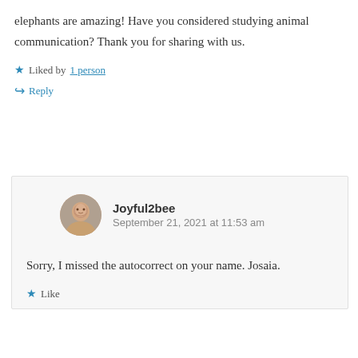elephants are amazing! Have you considered studying animal communication? Thank you for sharing with us.
Liked by 1 person
Reply
Joyful2bee
September 21, 2021 at 11:53 am
Sorry, I missed the autocorrect on your name. Josaia.
Like